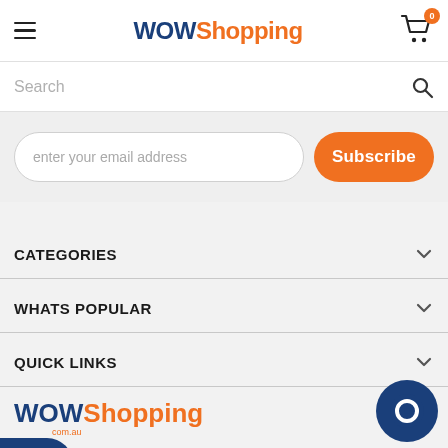WOWShopping header with hamburger menu, logo, and cart icon (0 items)
Search
[Figure (screenshot): Email subscription input field with 'enter your email address' placeholder and orange 'Subscribe' button]
CATEGORIES
WHATS POPULAR
QUICK LINKS
[Figure (logo): WOWShopping.com.au logo in footer area]
[Figure (other): Add To Cart button and chat bubble icon]